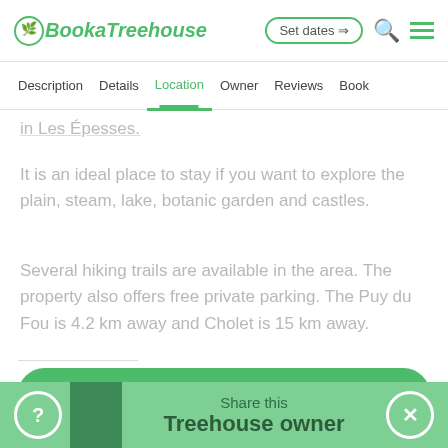BookaTreehouse — Set dates → [search] [menu]
Description  Details  Location  Owner  Reviews  Book
in Les Épesses.
It is an ideal place to stay if you want to explore the plain, steam, lake, botanic garden and castles.
Several hiking trails are available in the area. The property also offers free private parking. The Puy du Fou is 4.2 km away and Cholet is 15 km away.
Book now
Share this Treehouse owner